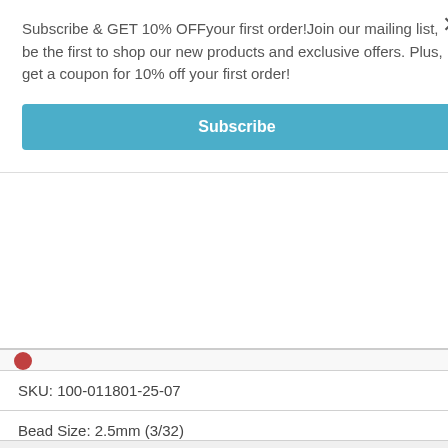Subscribe & GET 10% OFFyour first order!Join our mailing list, be the first to shop our new products and exclusive offers. Plus, get a coupon for 10% off your first order!
Subscribe
SKU: 100-011801-25-07
Bead Size: 2.5mm (3/32)
Color: Rainbow
Price: US$4.64
- 0 +
Add to cart